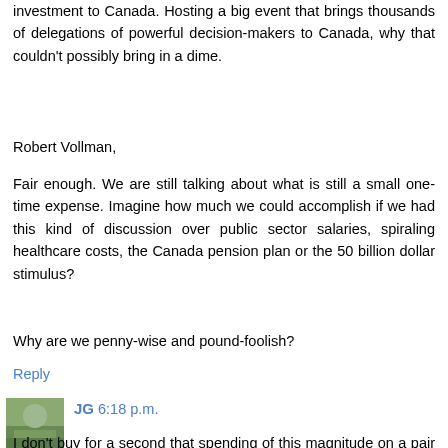investment to Canada. Hosting a big event that brings thousands of delegations of powerful decision-makers to Canada, why that couldn't possibly bring in a dime.
Robert Vollman,
Fair enough. We are still talking about what is still a small one-time expense. Imagine how much we could accomplish if we had this kind of discussion over public sector salaries, spiraling healthcare costs, the Canada pension plan or the 50 billion dollar stimulus?
Why are we penny-wise and pound-foolish?
Reply
JG 6:18 p.m.
I don't buy for a second that spending of this magnitude on a pair of international meetings is *remotely* justified. It is hardly necessary for other members of the G20 (much less the G8!) to become acquainted with Canada through a billion-dollar circus. If the goal is diplomatic or about